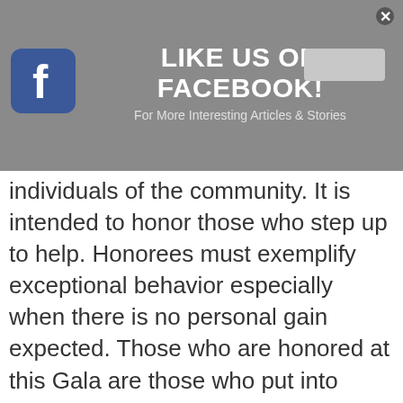[Figure (screenshot): Facebook banner with blue Facebook icon, text 'LIKE US ON FACEBOOK! For More Interesting Articles & Stories', a Like button placeholder, and a close (x) button, on a grey background.]
individuals of the community. It is intended to honor those who step up to help. Honorees must exemplify exceptional behavior especially when there is no personal gain expected. Those who are honored at this Gala are those who put into action what it means to be good citizens of the Calgary community. Carsyn, Arnaud, James, and Starlyn certainly qualified as citizens who stepped up at the right time to help. It may be hard for the Calgary Police Chief's Awards Gala recipients who follow to match this level of bravery.